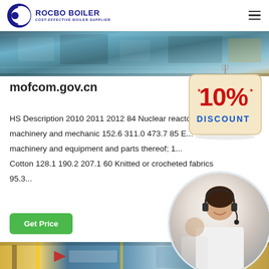ROCBO BOILER - COST-EFFECTIVE BOILER SUPPLIER
[Figure (photo): Industrial boiler/manufacturing facility banner photo at top of page]
mofcom.gov.cn
HS Description 2010 2011 2012 84 Nuclear reactors, boilers, machinery and mechanic 152.6 311.0 473.7 85 Electrical machinery and equipment and parts thereof; 1... Cotton 128.1 190.2 207.1 60 Knitted or crocheted fabrics 95.3...
[Figure (infographic): 10% DISCOUNT badge hanging sign graphic]
[Figure (photo): Customer service representative with headset, circular cropped photo]
[Figure (photo): Industrial facility/boiler manufacturing hall banner photo at bottom of page]